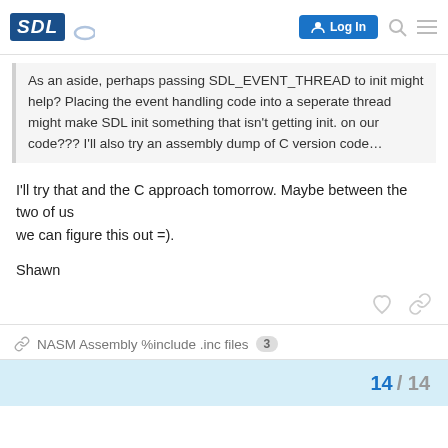SDL — Log In
As an aside, perhaps passing SDL_EVENT_THREAD to init might help? Placing the event handling code into a seperate thread might make SDL init something that isn't getting init. on our code??? I'll also try an assembly dump of C version code…
I'll try that and the C approach tomorrow. Maybe between the two of us
we can figure this out =).
Shawn
NASM Assembly %include .inc files  3
14 / 14